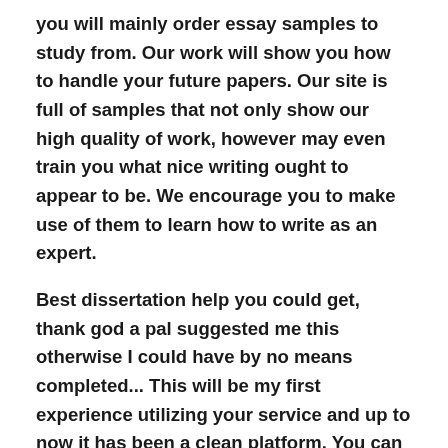you will mainly order essay samples to study from. Our work will show you how to handle your future papers. Our site is full of samples that not only show our high quality of work, however may even train you what nice writing ought to appear to be. We encourage you to make use of them to learn how to write as an expert.
Best dissertation help you could get, thank god a pal suggested me this otherwise I could have by no means completed... This will be my first experience utilizing your service and up to now it has been a clean platform. You can contact us any time and ask to write down essay for me; we'll always be pleased to assist you out.
You deserve the most effective, and our group keeps it in